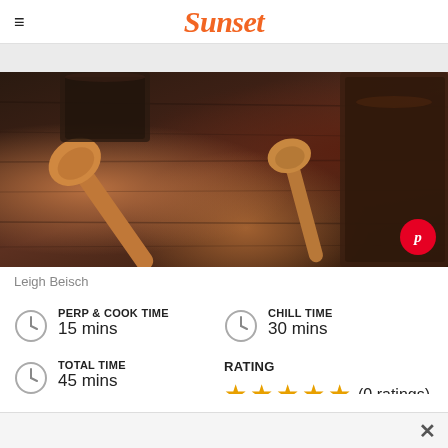Sunset
[Figure (photo): Close-up photo of two wooden spoons on a dark wood surface with chocolate desserts in glasses]
Leigh Beisch
PERP & COOK TIME
15 mins
CHILL TIME
30 mins
TOTAL TIME
45 mins
RATING
★★★★★ (0 ratings)